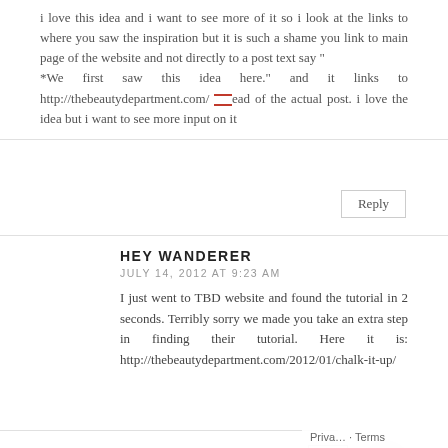i love this idea and i want to see more of it so i look at the links to where you saw the inspiration but it is such a shame you link to main page of the website and not directly to a post text say " *We first saw this idea here." and it links to http://thebeautydepartment.com/ instead of the actual post. i love the idea but i want to see more input on it
Reply
HEY WANDERER
JULY 14, 2012 AT 9:23 AM
I just went to TBD website and found the tutorial in 2 seconds. Terribly sorry we made you take an extra step in finding their tutorial. Here it is: http://thebeautydepartment.com/2012/01/chalk-it-up/
MIC MAHONE
AUGUST 12, 2012 AT 4:37 AM
So sidewalk chalk and oil pastels wont work?